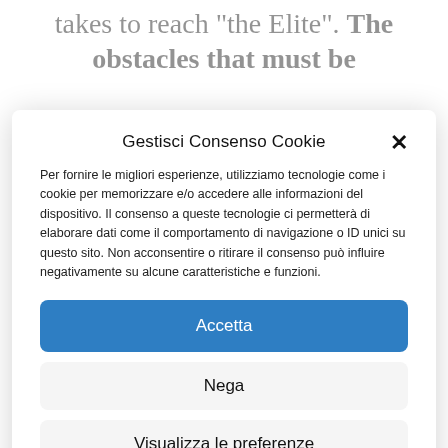takes to reach “the Elite”. The obstacles that must be
Gestisci Consenso Cookie
Per fornire le migliori esperienze, utilizziamo tecnologie come i cookie per memorizzare e/o accedere alle informazioni del dispositivo. Il consenso a queste tecnologie ci permetterà di elaborare dati come il comportamento di navigazione o ID unici su questo sito. Non acconsentire o ritirare il consenso può influire negativamente su alcune caratteristiche e funzioni.
Accetta
Nega
Visualizza le preferenze
Cookie Policy  Privacy Cookie Policy